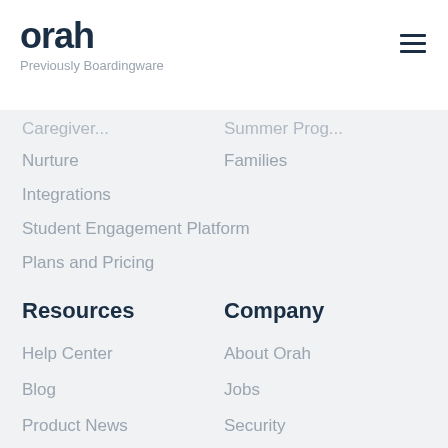orah
Previously Boardingware
Nurture
Integrations
Student Engagement Platform
Plans and Pricing
Families
Resources
Company
Help Center
Blog
Product News
Webinars
Customer Stories
Support Services
Demo
About Orah
Jobs
Security
Contact Us
Legal Center